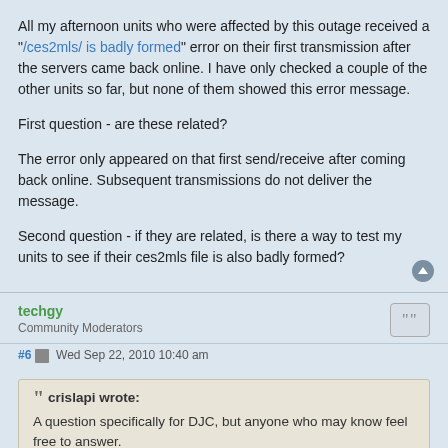All my afternoon units who were affected by this outage received a "/ces2mls/ is badly formed" error on their first transmission after the servers came back online. I have only checked a couple of the other units so far, but none of them showed this error message.
First question - are these related?
The error only appeared on that first send/receive after coming back online. Subsequent transmissions do not deliver the message.
Second question - if they are related, is there a way to test my units to see if their ces2mls file is also badly formed?
techgy
Community Moderators
#6  Wed Sep 22, 2010 10:40 am
crislapi wrote:
A question specifically for DJC, but anyone who may know feel free to answer.